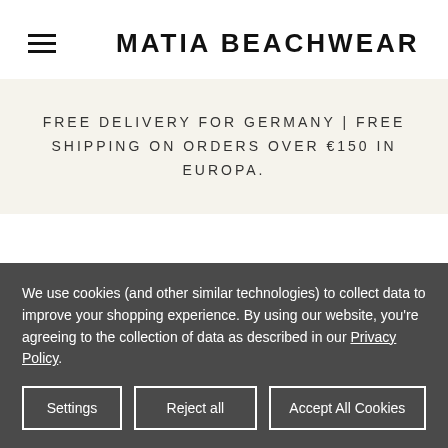MATIA BEACHWEAR
FREE DELIVERY FOR GERMANY | FREE SHIPPING ON ORDERS OVER €150 IN EUROPA.
We use cookies (and other similar technologies) to collect data to improve your shopping experience. By using our website, you're agreeing to the collection of data as described in our Privacy Policy.
Settings | Reject all | Accept All Cookies